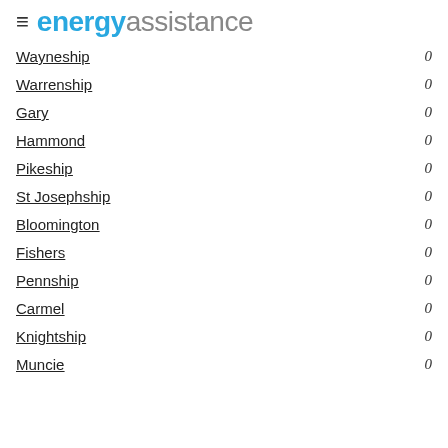energy assistance
Wayneship 0
Warrenship 0
Gary 0
Hammond 0
Pikeship 0
St Josephship 0
Bloomington 0
Fishers 0
Pennship 0
Carmel 0
Knightship 0
Muncie 0